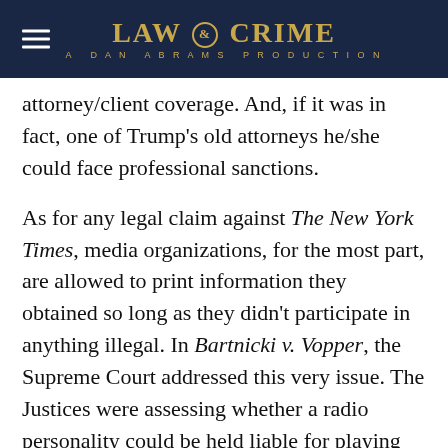LAW & CRIME — A DAN ABRAMS PRODUCTION
attorney/client coverage. And, if it was in fact, one of Trump's old attorneys he/she could face professional sanctions.
As for any legal claim against The New York Times, media organizations, for the most part, are allowed to print information they obtained so long as they didn't participate in anything illegal. In Bartnicki v. Vopper, the Supreme Court addressed this very issue. The Justices were assessing whether a radio personality could be held liable for playing illegally intercepted phone calls on the radio. The Court held the First Amendment